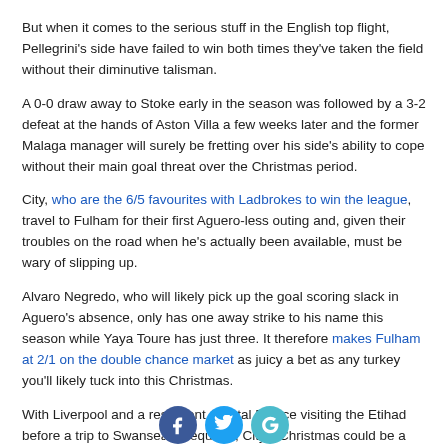But when it comes to the serious stuff in the English top flight, Pellegrini's side have failed to win both times they've taken the field without their diminutive talisman.
A 0-0 draw away to Stoke early in the season was followed by a 3-2 defeat at the hands of Aston Villa a few weeks later and the former Malaga manager will surely be fretting over his side's ability to cope without their main goal threat over the Christmas period.
City, who are the 6/5 favourites with Ladbrokes to win the league, travel to Fulham for their first Aguero-less outing and, given their troubles on the road when he's actually been available, must be wary of slipping up.
Alvaro Negredo, who will likely pick up the goal scoring slack in Aguero's absence, only has one away strike to his name this season while Yaya Toure has just three. It therefore makes Fulham at 2/1 on the double chance market as juicy a bet as any turkey you'll likely tuck into this Christmas.
With Liverpool and a resurgent Crystal Palace visiting the Etihad before a trip to Swansea is required, City's Christmas could be a sorry one.
All Odds and Markets are correct as of the date of publishing.
Fancy a flutter? Sign up today to claim up to £50 in free bets.